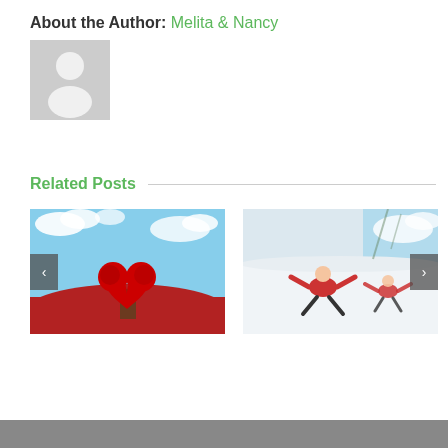About the Author: Melita & Nancy
[Figure (illustration): Generic user/author avatar placeholder — grey background with white silhouette of a person]
Related Posts
[Figure (photo): A heart-shaped red tree in a red field under a blue sky with clouds. Navigation left arrow button visible on left side.]
[Figure (photo): Two people making snow angels in snow, aerial/overhead view, winter scene. Navigation right arrow button visible on right side.]